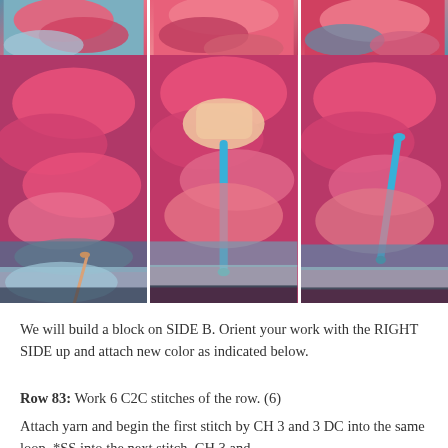[Figure (photo): Top row of crochet work photos showing colorful C2C crochet pattern in pink, blue, coral colors - three photos side by side (partially visible, cropped at top)]
[Figure (photo): Middle row of three crochet tutorial photos showing hands working with a blue crochet hook on a C2C crochet project in pink, coral, and blue yarn colors]
We will build a block on SIDE B.  Orient your work with the RIGHT SIDE up and attach new color as indicated below.
Row 83:  Work 6 C2C stitches of the row.  (6)
Attach yarn and begin the first stitch by CH 3 and 3 DC into the same loop.  *SS into the next stitch, CH 3 and